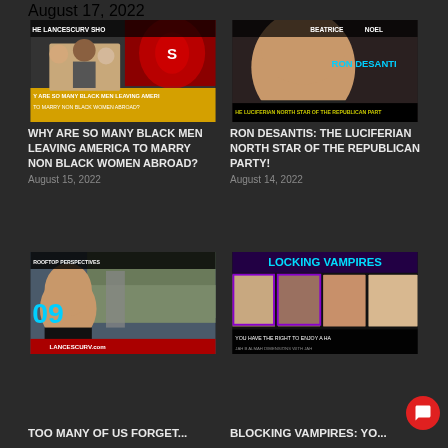August 17, 2022
[Figure (photo): Thumbnail for 'Why Are So Many Black Men Leaving America To Marry Non Black Women Abroad?' - shows The LanceScurv Show thumbnail with a man and two women, red heart background, text overlay]
[Figure (photo): Thumbnail for 'Ron DeSantis: The Luciferian North Star Of The Republican Party!' - shows Ron DeSantis with Beatrice Noell branding, blue text overlay on dark background]
WHY ARE SO MANY BLACK MEN LEAVING AMERICA TO MARRY NON BLACK WOMEN ABROAD?
August 15, 2022
RON DESANTIS: THE LUCIFERIAN NORTH STAR OF THE REPUBLICAN PARTY!
August 14, 2022
[Figure (photo): Thumbnail for 'Too Many Of Us Forget...' - Rooftop Perspectives show, LanceScurv.com, man in black shirt with aerial town view background]
[Figure (photo): Thumbnail for 'Blocking Vampires: Yo...' - Locking Vampires title with multiple women photos, text 'You Have The Right To Enjoy A Ha...']
TOO MANY OF US FORGET...
BLOCKING VAMPIRES: YO...